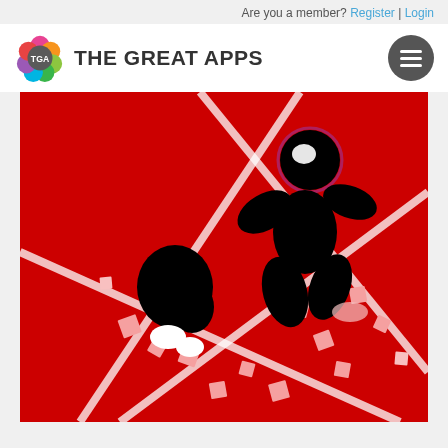Are you a member? Register | Login
[Figure (logo): The Great Apps logo with colorful flower/bubble icon and TGA text, followed by 'THE GREAT APPS' wordmark]
[Figure (screenshot): Mobile game screenshot showing two black stickman figures fighting on a red background with white diagonal lines and scattered white/pink square particles]